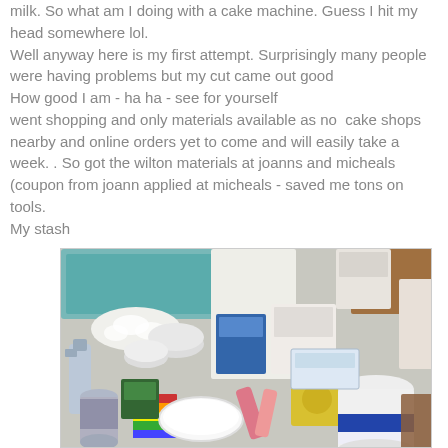milk. So what am I doing with a cake machine. Guess I hit my head somewhere lol.
Well anyway here is my first attempt. Surprisingly many people were having problems but my cut came out good
How good I am - ha ha - see for yourself
went shopping and only materials available as no  cake shops nearby and online orders yet to come and will easily take a week. . So got the wilton materials at joanns and micheals (coupon from joann applied at micheals - saved me tons on tools.
My stash
[Figure (photo): A photo of various cake decorating supplies and materials spread out on a surface, including boxes, tubes, containers, a white plate, and other Wilton brand items purchased at craft stores.]